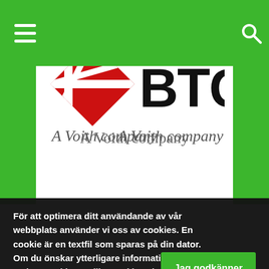[Figure (logo): BTG A Voith company logo with red diagonal stripe icon and black BTG text]
För att optimera ditt användande av vår webbplats använder vi oss av cookies. En cookie är en textfil som sparas på din dator. Om du önskar ytterligare information om vad en cookie är, vilka cookies vi använder, vad syftet med cookien är eller hur du kan blockera eller radera cookies, vänligen läs Om cookies.